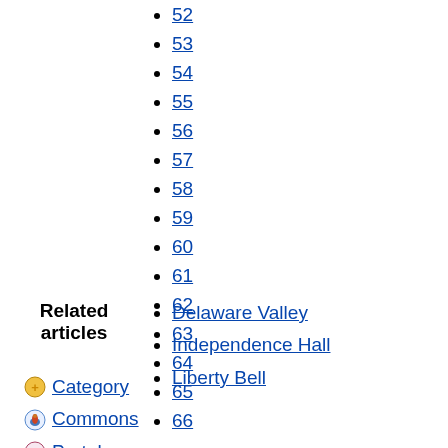52
53
54
55
56
57
58
59
60
61
62
63
64
65
66
Related articles
Delaware Valley
Independence Hall
Liberty Bell
Category
Commons
Portal